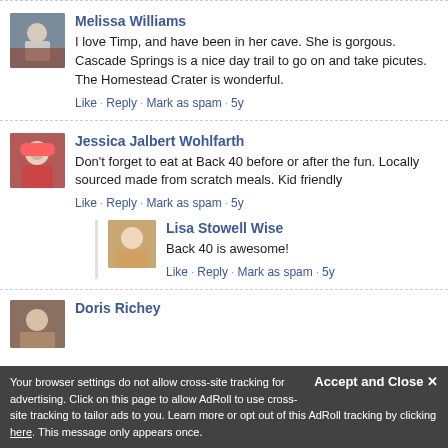Melissa Williams
I love Timp, and have been in her cave. She is gorgous. Cascade Springs is a nice day trail to go on and take picutes. The Homestead Crater is wonderful.
Like · Reply · Mark as spam · 5y
Jessica Jalbert Wohlfarth
Don't forget to eat at Back 40 before or after the fun. Locally sourced made from scratch meals. Kid friendly
Like · Reply · Mark as spam · 5y
Lisa Stowell Wise
Back 40 is awesome!
Like · Reply · Mark as spam · 5y
Doris Richey
Your browser settings do not allow cross-site tracking for advertising. Click on this page to allow AdRoll to use cross-site tracking to tailor ads to you. Learn more or opt out of this AdRoll tracking by clicking here. This message only appears once.
Accept and Close ✕